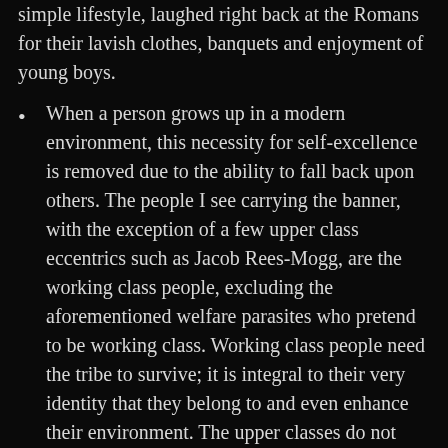simple lifestyle, laughed right back at the Romans for their lavish clothes, banquets and enjoyment of young boys.
When a person grows up in a modern environment, this necessity for self-excellence is removed due to the ability to fall back upon others. The people I see carrying the banner, with the exception of a few upper class eccentrics such as Jacob Rees-Mogg, are the working class people, excluding the aforementioned welfare parasites who pretend to be working class. Working class people need the tribe to survive; it is integral to their very identity that they belong to and even enhance their environment. The upper classes do not feel this same necessity, yet. More about this in an article about the Kali Yuga/Ragnörok.